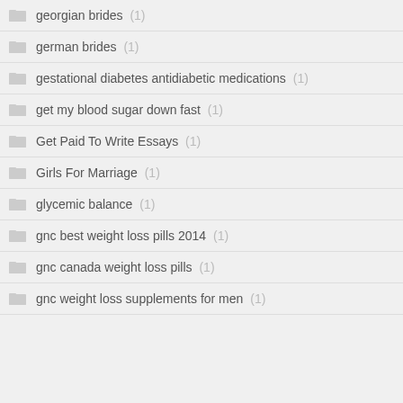georgian brides (1)
german brides (1)
gestational diabetes antidiabetic medications (1)
get my blood sugar down fast (1)
Get Paid To Write Essays (1)
Girls For Marriage (1)
glycemic balance (1)
gnc best weight loss pills 2014 (1)
gnc canada weight loss pills (1)
gnc weight loss supplements for men (1)